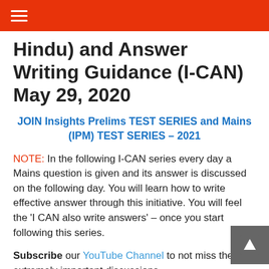☰
Hindu) and Answer Writing Guidance (I-CAN) May 29, 2020
JOIN Insights Prelims TEST SERIES and Mains (IPM) TEST SERIES – 2021
NOTE: In the following I-CAN series every day a Mains question is given and its answer is discussed on the following day. You will learn how to write effective answer through this initiative. You will feel the 'I CAN also write answers' – once you start following this series.
Subscribe our YouTube Channel to not miss these extremely important discussions.
Read about this new Initiative HERE